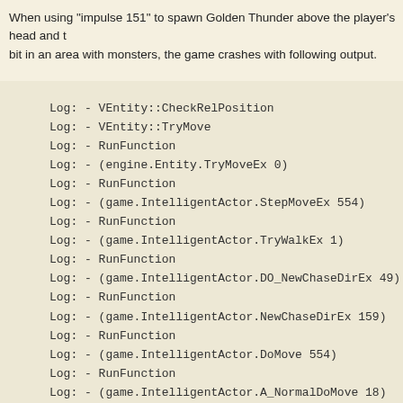When using "impulse 151" to spawn Golden Thunder above the player's head and bit in an area with monsters, the game crashes with following output.
[Figure (screenshot): Log output block showing a call stack trace with lines: Log: - VEntity::CheckRelPosition, Log: - VEntity::TryMove, Log: - RunFunction, Log: - (engine.Entity.TryMoveEx 0), Log: - RunFunction, Log: - (game.IntelligentActor.StepMoveEx 554), Log: - RunFunction, Log: - (game.IntelligentActor.TryWalkEx 1), Log: - RunFunction, Log: - (game.IntelligentActor.DO_NewChaseDirEx 49), Log: - RunFunction, Log: - (game.IntelligentActor.NewChaseDirEx 159), Log: - RunFunction, Log: - (game.IntelligentActor.DoMove 554), Log: - RunFunction, Log: - (game.IntelligentActor.A_NormalDoMove 18), Log: - RunFunction, Log: - (game.IntelligentActor.A_ChaseAI 150), Log: - VObject::ExecuteFunction, Log: - (game.IntelligentActor.A_ChaseAI), Log: - VEntity::SetState, Log: - VEntity::AdvanceState, Log: - RunFunction, Log: - (engine.EntityAdvanceState 0)]